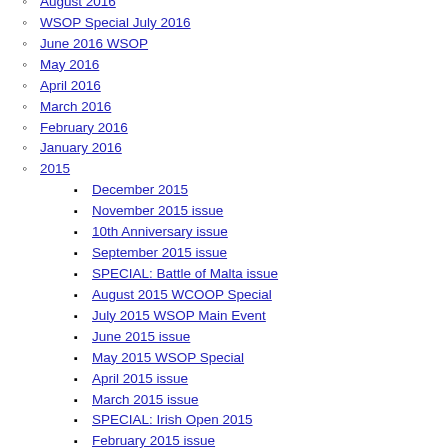August 2016
WSOP Special July 2016
June 2016 WSOP
May 2016
April 2016
March 2016
February 2016
January 2016
2015
December 2015
November 2015 issue
10th Anniversary issue
September 2015 issue
SPECIAL: Battle of Malta issue
August 2015 WCOOP Special
July 2015 WSOP Main Event
June 2015 issue
May 2015 WSOP Special
April 2015 issue
March 2015 issue
SPECIAL: Irish Open 2015
February 2015 issue
January 2015 issue
2014
January 2014
December 2014
2013
January 2013
Poker Room Offers